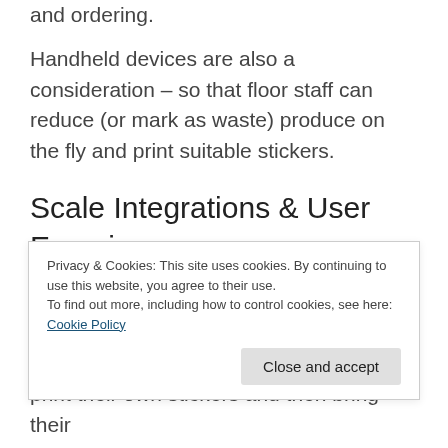and ordering.
Handheld devices are also a consideration – so that floor staff can reduce (or mark as waste) produce on the fly and print suitable stickers.
Scale Integrations & User Experience
Requiring every piece of produce to be weighed individually at the till can cause
Privacy & Cookies: This site uses cookies. By continuing to use this website, you agree to their use.
To find out more, including how to control cookies, see here: Cookie Policy
print their own stickers and then bring their